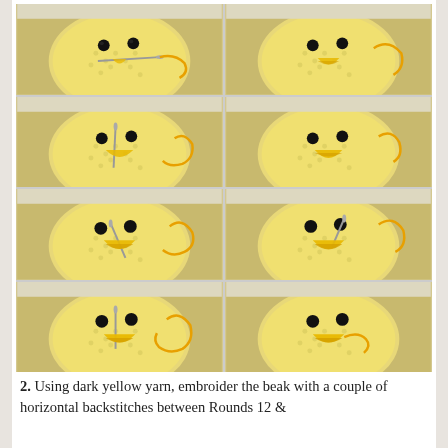[Figure (photo): Six-panel photo grid showing step-by-step process of embroidering a beak on a crocheted yellow chick amigurumi. Each panel shows the yellow crocheted chick head with black bead eyes, dark yellow yarn, and a tapestry needle being used to stitch the beak area. The images progress through the embroidery steps.]
2. Using dark yellow yarn, embroider the beak with a couple of horizontal backstitches between Rounds 12 &